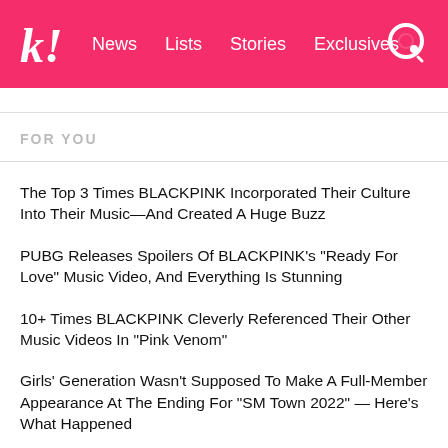k! News  Lists  Stories  Exclusives
FOR YOU
The Top 3 Times BLACKPINK Incorporated Their Culture Into Their Music—And Created A Huge Buzz
PUBG Releases Spoilers Of BLACKPINK's "Ready For Love" Music Video, And Everything Is Stunning
10+ Times BLACKPINK Cleverly Referenced Their Other Music Videos In "Pink Venom"
Girls' Generation Wasn't Supposed To Make A Full-Member Appearance At The Ending For "SM Town 2022" — Here's What Happened
EXO Flex Their Flawless Live Vocals At SMTOWN LIVE 2022, Proving That For Them, The Mic Is Always On